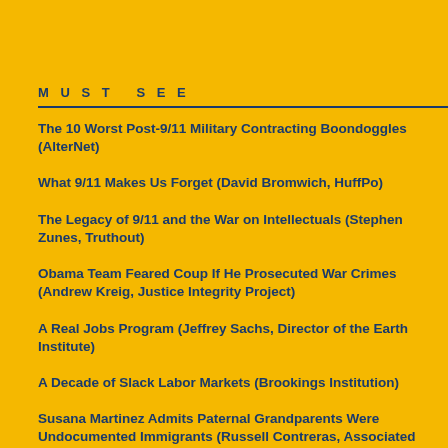MUST SEE
The 10 Worst Post-9/11 Military Contracting Boondoggles (AlterNet)
What 9/11 Makes Us Forget (David Bromwich, HuffPo)
The Legacy of 9/11 and the War on Intellectuals (Stephen Zunes, Truthout)
Obama Team Feared Coup If He Prosecuted War Crimes (Andrew Kreig, Justice Integrity Project)
A Real Jobs Program (Jeffrey Sachs, Director of the Earth Institute)
A Decade of Slack Labor Markets (Brookings Institution)
Susana Martinez Admits Paternal Grandparents Were Undocumented Immigrants (Russell Contreras, Associated Press)
Cargo began passing around a si said 'I'm going to pass around no would like to have you write down and address and phone number s and put you to work for the party,' "Then one gal got up and said, 'W for any party; we're here only this we won't be back.'"
Cargo said that over the course o many of the participants said they Wilson's senate campaign and fro County Sheriff Darren White's con campaign. Several people told h being paid $35-an-hour (for two campaigns and that the campai paid their $30 registration fees. mine]
"I told them that this was known a that it was illegal and that it was fo felony," Cargo said.
... State Rep. Janice Arnold-Jones